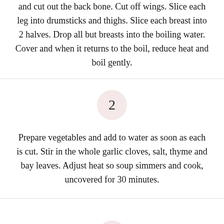and cut out the back bone. Cut off wings. Slice each leg into drumsticks and thighs. Slice each breast into 2 halves. Drop all but breasts into the boiling water. Cover and when it returns to the boil, reduce heat and boil gently.
2
Prepare vegetables and add to water as soon as each is cut. Stir in the whole garlic cloves, salt, thyme and bay leaves. Adjust heat so soup simmers and cook, uncovered for 30 minutes.
3